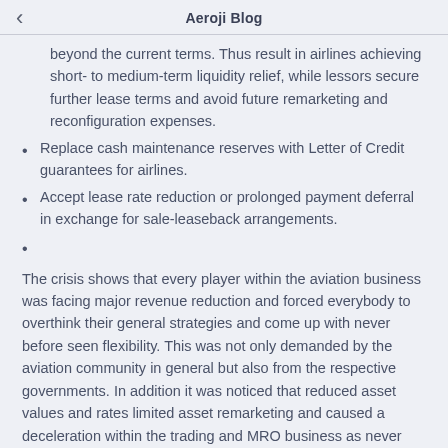Aeroji Blog
beyond the current terms. Thus result in airlines achieving short- to medium-term liquidity relief, while lessors secure further lease terms and avoid future remarketing and reconfiguration expenses.
Replace cash maintenance reserves with Letter of Credit guarantees for airlines.
Accept lease rate reduction or prolonged payment deferral in exchange for sale-leaseback arrangements.
The crisis shows that every player within the aviation business was facing major revenue reduction and forced everybody to overthink their general strategies and come up with never before seen flexibility. This was not only demanded by the aviation community in general but also from the respective governments. In addition it was noticed that reduced asset values and rates limited asset remarketing and caused a deceleration within the trading and MRO business as never seen before.
Relief and European lockdown